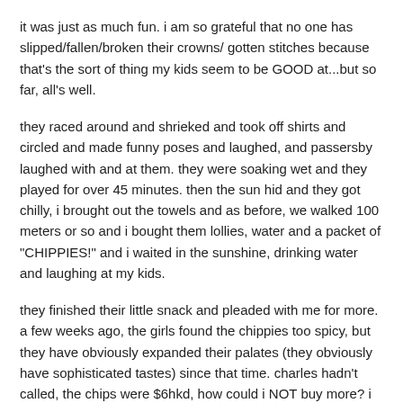it was just as much fun. i am so grateful that no one has slipped/fallen/broken their crowns/ gotten stitches because that's the sort of thing my kids seem to be GOOD at...but so far, all's well.
they raced around and shrieked and took off shirts and circled and made funny poses and laughed, and passersby laughed with and at them. they were soaking wet and they played for over 45 minutes. then the sun hid and they got chilly, i brought out the towels and as before, we walked 100 meters or so and i bought them lollies, water and a packet of "CHIPPIES!" and i waited in the sunshine, drinking water and laughing at my kids.
they finished their little snack and pleaded with me for more. a few weeks ago, the girls found the chippies too spicy, but they have obviously expanded their palates (they obviously have sophisticated tastes) since that time. charles hadn't called, the chips were $6hkd, how could i NOT buy more? i bought two more packets and watched, predictably, as sebastian kicked over the boys' drink and jasper recoiled in horror, thus knocking over the girls' drinks. back to stand for more water. stand operator much amused.
charles called and we walked up steps to find him. found him.